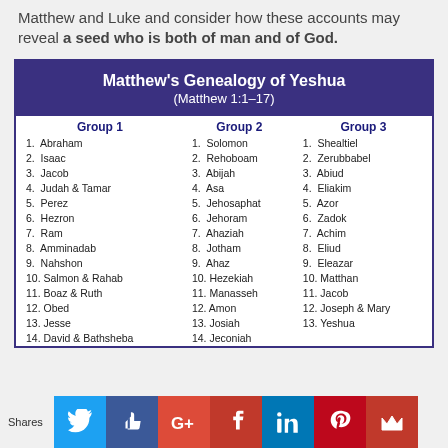Matthew and Luke and consider how these accounts may reveal a seed who is both of man and of God.
| Group 1 | Group 2 | Group 3 |
| --- | --- | --- |
| 1. Abraham | 1. Solomon | 1. Shealtiel |
| 2. Isaac | 2. Rehoboam | 2. Zerubbabel |
| 3. Jacob | 3. Abijah | 3. Abiud |
| 4. Judah & Tamar | 4. Asa | 4. Eliakim |
| 5. Perez | 5. Jehosaphat | 5. Azor |
| 6. Hezron | 6. Jehoram | 6. Zadok |
| 7. Ram | 7. Ahaziah | 7. Achim |
| 8. Amminadab | 8. Jotham | 8. Eliud |
| 9. Nahshon | 9. Ahaz | 9. Eleazar |
| 10. Salmon & Rahab | 10. Hezekiah | 10. Matthan |
| 11. Boaz & Ruth | 11. Manasseh | 11. Jacob |
| 12. Obed | 12. Amon | 12. Joseph & Mary |
| 13. Jesse | 13. Josiah | 13. Yeshua |
| 14. David & Bathsheba | 14. Jeconiah |  |
[Figure (infographic): Social sharing bar with Twitter, Facebook Like, Google+, Facebook, LinkedIn, Pinterest, and crown icons]